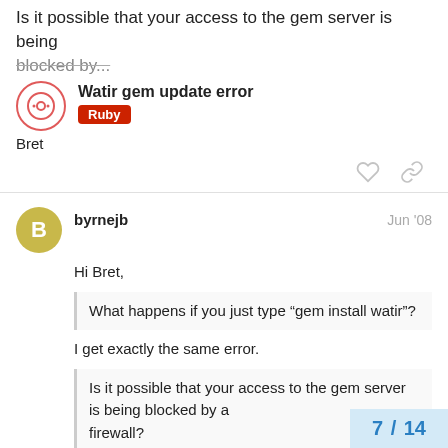Is it possible that your access to the gem server is being blocked by...
Watir gem update error
Ruby
Bret
byrnejb
Jun '08
Hi Bret,
What happens if you just type “gem install watir”?
I get exactly the same error.
Is it possible that your access to the gem server is being blocked by a firewall?
7 / 14